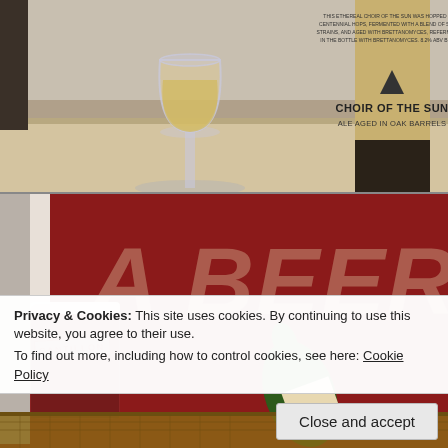[Figure (photo): Top photo: A stemmed wine glass with golden beer beside a tall bottle labeled 'CHOIR OF THE SUN - ALE AGED IN OAK BARRELS' with a triangle logo, resting on a light wood table.]
[Figure (photo): Bottom photo: A red background with large weathered text 'A BEER', a Cantillon-branded glass with dark red beer, a green bottle lying on its side, and a basket at the bottom.]
Privacy & Cookies: This site uses cookies. By continuing to use this website, you agree to their use.
To find out more, including how to control cookies, see here: Cookie Policy
Close and accept